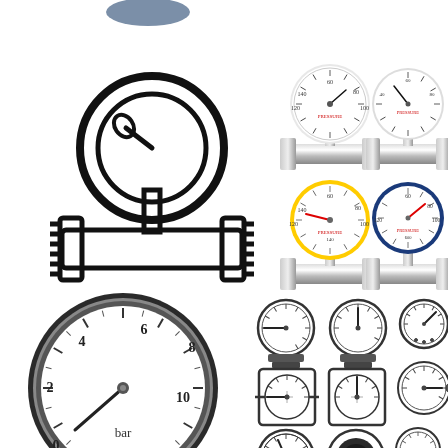[Figure (schematic): Collection of pressure gauge illustrations: top-left shows a black outline/icon of a pressure gauge on a pipe fitting; top-right shows four realistic pressure gauges mounted on pipe fittings (two with black bezels, one with yellow bezel, one with blue bezel); bottom-left shows a detailed realistic pressure gauge with scale 0-10 bar with needle pointing near 1, mounted on threaded fitting; bottom-right shows a grid of 9 pressure gauge icons in various styles (circular, square, different needle positions).]